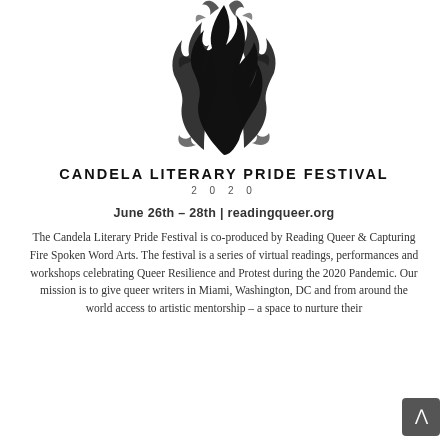[Figure (logo): Candela Literary Pride Festival flame/fire logo — abstract black ink flame design]
CANDELA LITERARY PRIDE FESTIVAL
2 0 2 0
June 26th – 28th | readingqueer.org
The Candela Literary Pride Festival is co-produced by Reading Queer & Capturing Fire Spoken Word Arts. The festival is a series of virtual readings, performances and workshops celebrating Queer Resilience and Protest during the 2020 Pandemic. Our mission is to give queer writers in Miami, Washington, DC and from around the world access to artistic mentorship – a space to nurture their